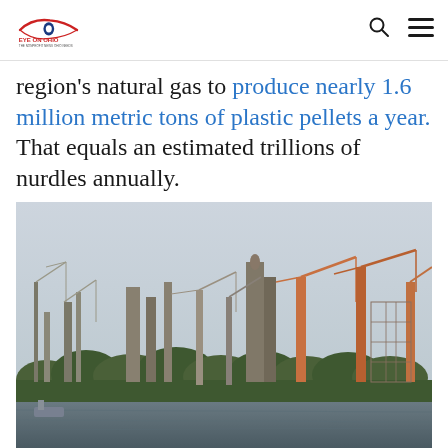Eye on Ohio
region's natural gas to produce nearly 1.6 million metric tons of plastic pellets a year. That equals an estimated trillions of nurdles annually.
[Figure (photo): Industrial construction site with numerous cranes and structures visible from across a river, with a treeline in the foreground and overcast sky. The Shell Polymers plant under construction along the Ohio River.]